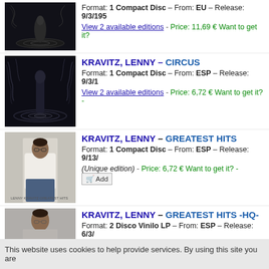[Figure (photo): Album cover for Circus by Lenny Kravitz - dark artistic image of figure on rippling water]
Format: 1 Compact Disc – From: EU – Release: 9/3/195...
View 2 available editions - Price: 11,69 € Want to get it?
[Figure (photo): Album cover for Circus by Lenny Kravitz - dark artistic image, same cover]
KRAVITZ, LENNY – CIRCUS
Format: 1 Compact Disc – From: ESP – Release: 9/3/1...
View 2 available editions - Price: 6,72 € Want to get it? -
[Figure (photo): Album cover for Lenny Kravitz Greatest Hits - photo of Lenny in white shirt and jeans]
KRAVITZ, LENNY – GREATEST HITS
Format: 1 Compact Disc – From: ESP – Release: 9/13/...
(Unique edition) - Price: 6,72 € Want to get it? - Add
[Figure (photo): Album cover for Lenny Kravitz Greatest Hits HQ - grey toned photo of Lenny]
KRAVITZ, LENNY – GREATEST HITS -HQ-
Format: 2 Disco Vinilo LP – From: ESP – Release: 6/3/...
This website uses cookies to help provide services. By using this site you are